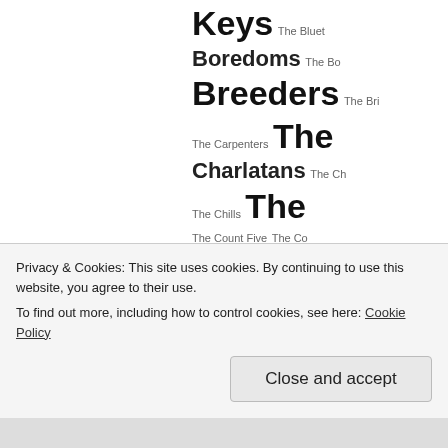[Figure (infographic): Tag cloud of band/artist names starting with 'The', showing varying font sizes. Visible text includes: Keys, The Bluet[ons], Boredoms, The Bo[redoms], Breeders, The Bri[eders], The Carpenters, The [large], Charlatans, The Ch[arlatans], The Chills, The [large], The Count Five, The Co[unt], Cranberries, The [large], Cure, The Curse [large], The Dave Howard Sing[ers], Kennedys, The Dead [Kennedys], Decemberists, Th[e Decemberists], The Dream Syndicate, Escape Club, The Evapo[rators], The Faint, The Fall [large], Lips [large], The Flys, The F[laming Lips], Gaslight Anthem, The G[aslight], The Go[dfathers/Grateful Dead], fu[gees/ture], M[illions/onkees]]
Privacy & Cookies: This site uses cookies. By continuing to use this website, you agree to their use.
To find out more, including how to control cookies, see here: Cookie Policy
Close and accept